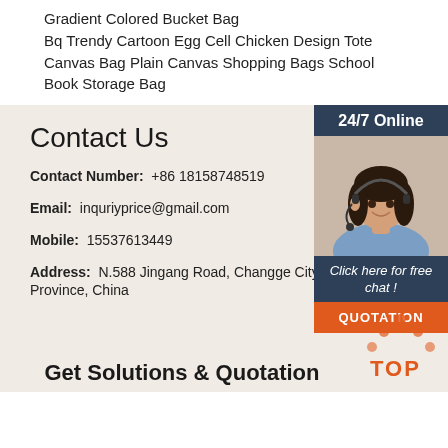Gradient Colored Bucket Bag
Bq Trendy Cartoon Egg Cell Chicken Design Tote Canvas Bag Plain Canvas Shopping Bags School Book Storage Bag
Contact Us
Contact Number:  +86 18158748519
Email:  inquriyprice@gmail.com
Mobile:  15537613449
Address:  N.588 Jingang Road, Changge City, H Province, China
[Figure (photo): Customer service representative with headset, 24/7 Online support widget with 'Click here for free chat!' and QUOTATION button]
Get Solutions & Quotation
[Figure (logo): TOP logo with orange dots and text]